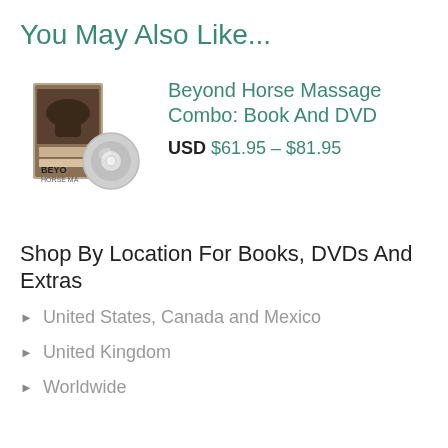You May Also Like...
[Figure (photo): Product image showing a book and DVD combo for Beyond Horse Massage]
Beyond Horse Massage Combo: Book And DVD
USD $61.95 – $81.95
Shop By Location For Books, DVDs And Extras
United States, Canada and Mexico
United Kingdom
Worldwide